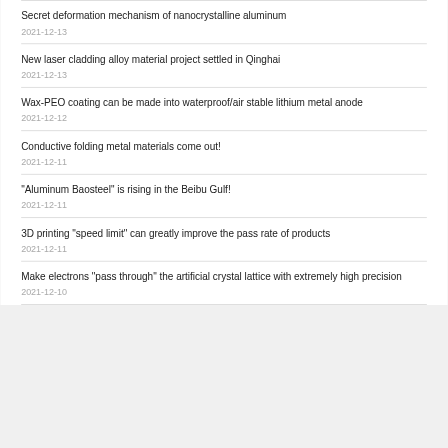Secret deformation mechanism of nanocrystalline aluminum
2021-12-13
New laser cladding alloy material project settled in Qinghai
2021-12-13
Wax-PEO coating can be made into waterproof/air stable lithium metal anode
2021-12-12
Conductive folding metal materials come out!
2021-12-11
"Aluminum Baosteel" is rising in the Beibu Gulf!
2021-12-11
3D printing "speed limit" can greatly improve the pass rate of products
2021-12-11
Make electrons "pass through" the artificial crystal lattice with extremely high precision
2021-12-10